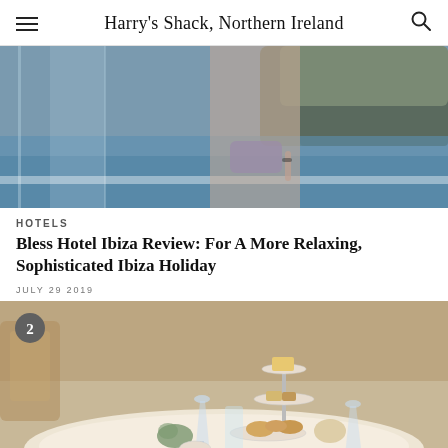Harry's Shack, Northern Ireland
[Figure (photo): Person in purple bikini standing at pool with rocky coastline and sea in background]
HOTELS
Bless Hotel Ibiza Review: For A More Relaxing, Sophisticated Ibiza Holiday
JULY 29 2019
[Figure (photo): Afternoon tea spread on white tablecloth with tiered cake stand, scones, champagne flutes, and floral china in an elegant restaurant setting. Number badge '2' in top left corner.]